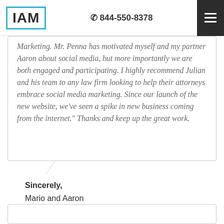IAM | 844-550-8378
Marketing. Mr. Penna has motivated myself and my partner Aaron about social media, but more importantly we are both engaged and participating. I highly recommend Julian and his team to any law firm looking to help their attorneys embrace social media marketing. Since our launch of the new website, we've seen a spike in new business coming from the internet." Thanks and keep up the great work.
Sincerely,
Mario and Aaron
The Law Firm of Zapicchi&Liller